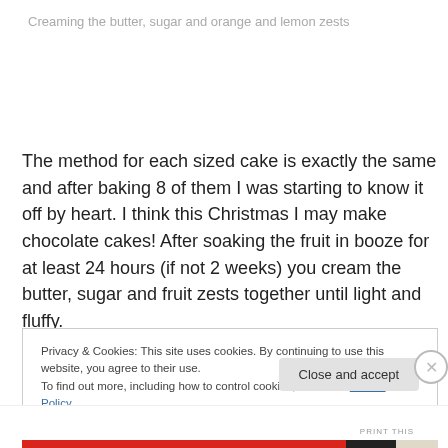Creaming the butter, sugar and orange and lemon zests
The method for each sized cake is exactly the same and after baking 8 of them I was starting to know it off by heart. I think this Christmas I may make chocolate cakes! After soaking the fruit in booze for at least 24 hours (if not 2 weeks) you cream the butter, sugar and fruit zests together until light and fluffy.
Privacy & Cookies: This site uses cookies. By continuing to use this website, you agree to their use.
To find out more, including how to control cookies, see here: Cookie Policy